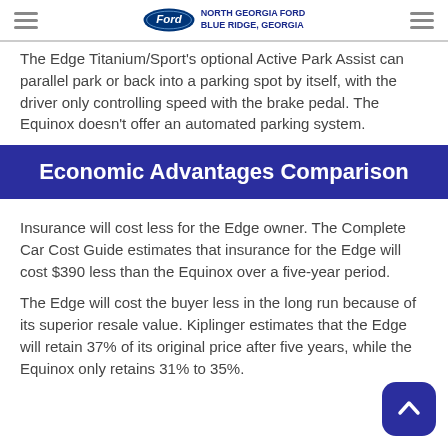NORTH GEORGIA FORD BLUE RIDGE, GEORGIA
The Edge Titanium/Sport's optional Active Park Assist can parallel park or back into a parking spot by itself, with the driver only controlling speed with the brake pedal. The Equinox doesn't offer an automated parking system.
Economic Advantages Comparison
Insurance will cost less for the Edge owner. The Complete Car Cost Guide estimates that insurance for the Edge will cost $390 less than the Equinox over a five-year period.
The Edge will cost the buyer less in the long run because of its superior resale value. Kiplinger estimates that the Edge will retain 37% of its original price after five years, while the Equinox only retains 31% to 35%.